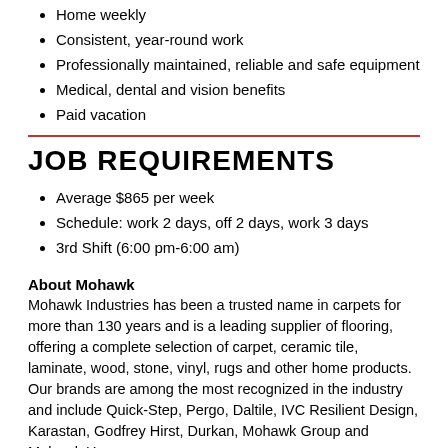Home weekly
Consistent, year-round work
Professionally maintained, reliable and safe equipment
Medical, dental and vision benefits
Paid vacation
JOB REQUIREMENTS
Average $865 per week
Schedule: work 2 days, off 2 days, work 3 days
3rd Shift (6:00 pm-6:00 am)
About Mohawk
Mohawk Industries has been a trusted name in carpets for more than 130 years and is a leading supplier of flooring, offering a complete selection of carpet, ceramic tile, laminate, wood, stone, vinyl, rugs and other home products. Our brands are among the most recognized in the industry and include Quick-Step, Pergo, Daltile, IVC Resilient Design, Karastan, Godfrey Hirst, Durkan, Mohawk Group and Mohawk Home.